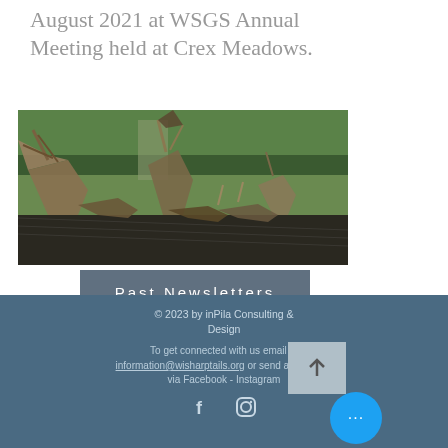August 2021 at WSGS Annual Meeting held at Crex Meadows.
[Figure (photo): Metal sculpture birds (made from scrap metal/tools) displayed outdoors at Crex Meadows, with green meadow and trees in background.]
Past Newsletters
© 2023 by inPila Consulting & Design

To get connected with us email at information@wisharptails.org or send a message via Facebook - Instagram
[Figure (other): Social media icons: Facebook (f) and Instagram (camera) icons in white on dark teal background.]